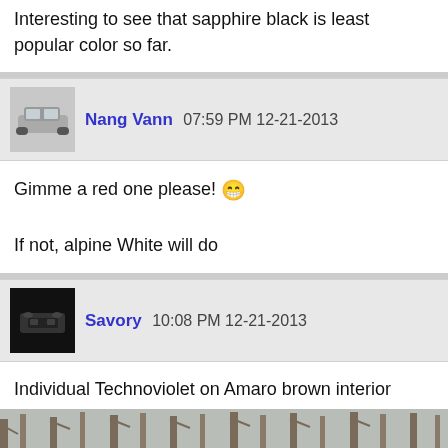Interesting to see that sapphire black is least popular color so far.
[Figure (photo): User avatar thumbnail showing a silver/white car (BMW)]
Nang Vann 07:59 PM 12-21-2013
Gimme a red one please! 😁

If not, alpine White will do
[Figure (photo): User avatar thumbnail showing a dark car front view on black background]
Savory 10:08 PM 12-21-2013
Individual Technoviolet on Amaro brown interior
[Figure (photo): Photograph of a dark purple/violet car (BMW) parked outdoors with bare winter trees in the background]